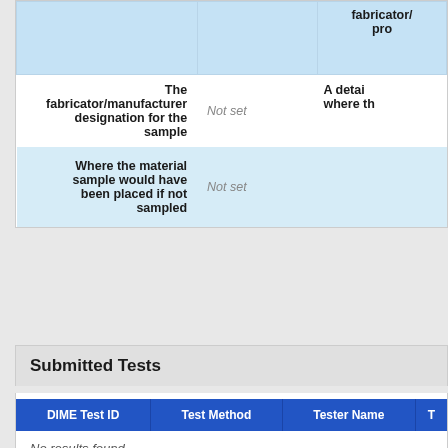| Field | Value | Description |
| --- | --- | --- |
|  |  | fabricator/manufacturer pro... |
| The fabricator/manufacturer designation for the sample | Not set | A detail where th... |
| Where the material sample would have been placed if not sampled | Not set |  |
Submitted Tests
| DIME Test ID | Test Method | Tester Name | T... |
| --- | --- | --- | --- |
No results found.